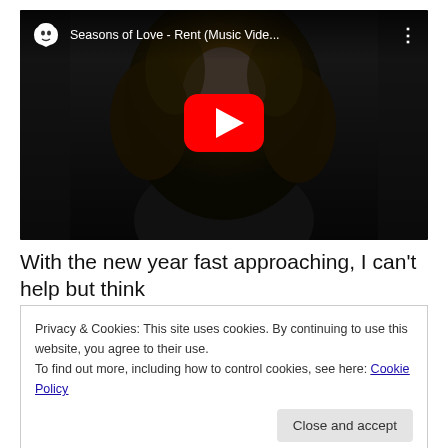[Figure (screenshot): YouTube video embed showing 'Seasons of Love - Rent (Music Vide...' with a woman with curly hair visible as the thumbnail, a red YouTube play button in the center, the YouTube logo and video title in the top bar, and a three-dot menu icon.]
With the new year fast approaching, I can't help but think
Privacy & Cookies: This site uses cookies. By continuing to use this website, you agree to their use.
To find out more, including how to control cookies, see here: Cookie Policy